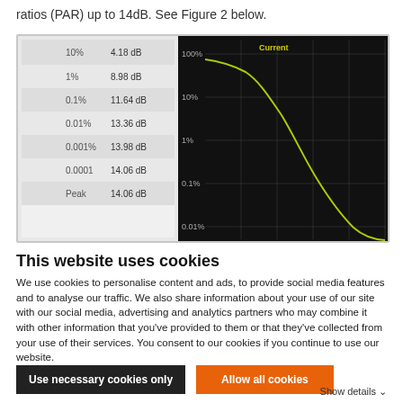ratios (PAR) up to 14dB. See Figure 2 below.
[Figure (continuous-plot): Screenshot of a signal analysis tool showing a CCDF (Complementary Cumulative Distribution Function) curve on a dark/black background. Y-axis shows percentages from 0.01% to 100% on a logarithmic scale. X-axis is unlabeled. A yellow-green curve starts at ~100% and descends steeply toward ~0.01% at the right. A legend table on the left side shows: 10%: 4.18 dB, 1%: 8.98 dB, 0.1%: 11.64 dB, 0.01%: 13.36 dB, 0.001%: 13.98 dB, 0.0001: 14.06 dB, Peak: 14.06 dB. The label 'Current' appears in yellow at the top of the chart area.]
This website uses cookies
We use cookies to personalise content and ads, to provide social media features and to analyse our traffic. We also share information about your use of our site with our social media, advertising and analytics partners who may combine it with other information that you've provided to them or that they've collected from your use of their services. You consent to our cookies if you continue to use our website.
Use necessary cookies only
Allow all cookies
Show details ∨